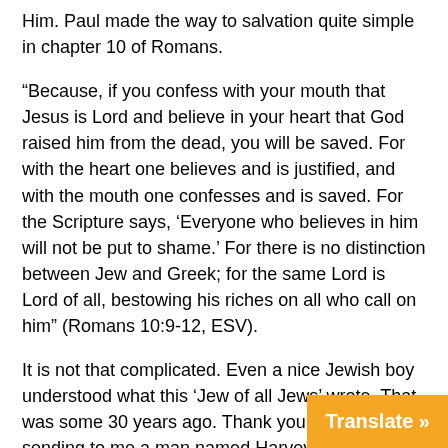Him. Paul made the way to salvation quite simple in chapter 10 of Romans.
“Because, if you confess with your mouth that Jesus is Lord and believe in your heart that God raised him from the dead, you will be saved. For with the heart one believes and is justified, and with the mouth one confesses and is saved. For the Scripture says, ‘Everyone who believes in him will not be put to shame.’ For there is no distinction between Jew and Greek; for the same Lord is Lord of all, bestowing his riches on all who call on him” (Romans 10:9-12, ESV).
It is not that complicated. Even a nice Jewish boy understood what this ‘Jew of all Jews’ wrote. That was some 30 years ago. Thank you, Abba, for sending to me a man named Harvey who was obedient to delivering a message of your amazing and saving grace about Jesus the Messiah.
And one more thing. Brothers and sisters, this current pestilence known as the Wuhan coronaviru… and prayerfully be over soon. First and for…